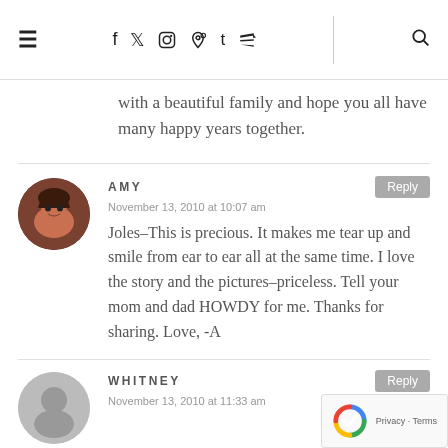≡  f  t  [instagram]  [pinterest]  t  [youtube]  |  [search]
with a beautiful family and hope you all have many happy years together.
AMY
November 13, 2010 at 10:07 am
Joles–This is precious. It makes me tear up and smile from ear to ear all at the same time. I love the story and the pictures–priceless. Tell your mom and dad HOWDY for me. Thanks for sharing. Love, -A
WHITNEY
November 13, 2010 at 11:33 am